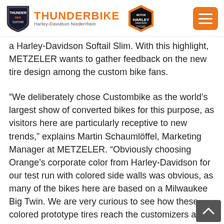THUNDERBIKE Harley-Davidson Niederrhein
a Harley-Davidson Softail Slim. With this highlight, METZELER wants to gather feedback on the new tire design among the custom bike fans.
“We deliberately chose Custombike as the world’s largest show of converted bikes for this purpose, as visitors here are particularly receptive to new trends,” explains Martin Schaumlöffel, Marketing Manager at METZELER. “Obviously choosing Orange’s corporate color from Harley-Davidson for our test run with colored side walls was obvious, as many of the bikes here are based on a Milwaukee Big Twin. We are very curious to see how these colored prototype tires reach the customizers and their customers. Mass production is definitely not an option. “In any case, it may be worth filling in one of the” Orange Wall “questionnaires available at the show, as METZELER is giving away one set of ME888 Marathon of choice among all participants.